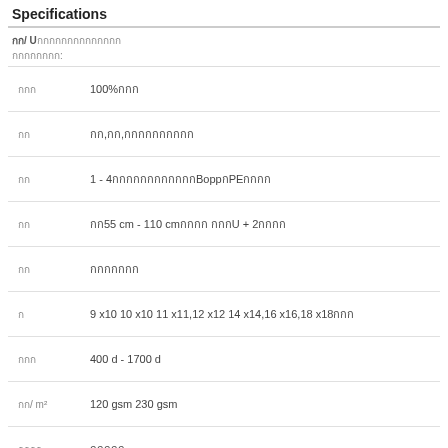Specifications
กก/ U กกกกกกกกกกกกกก
กกกกกกกก:
| Label | Value |
| --- | --- |
| กกก | 100%กกก |
| กก | กก,กก,กกกกกกกกกก |
| กก | 1 - 4กกกกกกกกกกกกBoppกPEกกกก |
| กก | กก55 cm - 110 cmกกกก กกกU + 2กกกก |
| กก | กกกกกกก |
| ก | 9 x10 10 x10 11 x11,12 x12 14 x14,16 x16,18 x18กกก |
| กกก | 400 d - 1700 d |
| กก/ m² | 120 gsm 230 gsm |
| กกกก | กกกกก |
| ก | กกก |